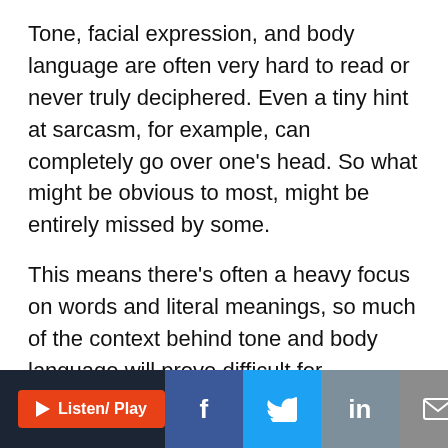Tone, facial expression, and body language are often very hard to read or never truly deciphered. Even a tiny hint at sarcasm, for example, can completely go over one's head. So what might be obvious to most, might be entirely missed by some.
This means there's often a heavy focus on words and literal meanings, so much of the context behind tone and body language will prove difficult for individuals with this LD.
In 2020, the comedian, Chris Rock, opened up about his own struggles, having been diagnosed with the disability (NVLD) as an adult. In an interview with The
Listen/ Play | Facebook | Twitter | LinkedIn | Email